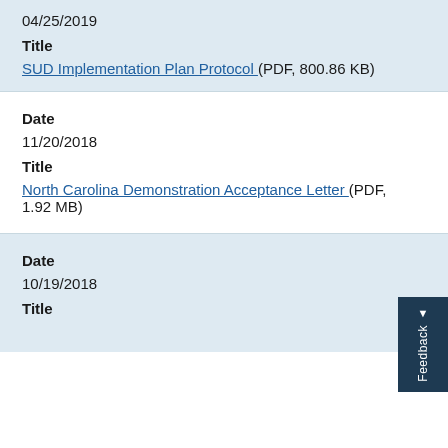04/25/2019
Title
SUD Implementation Plan Protocol (PDF, 800.86 KB)
Date
11/20/2018
Title
North Carolina Demonstration Acceptance Letter (PDF, 1.92 MB)
Date
10/19/2018
Title